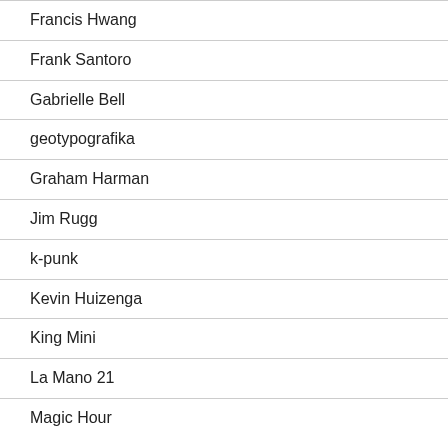Francis Hwang
Frank Santoro
Gabrielle Bell
geotypografika
Graham Harman
Jim Rugg
k-punk
Kevin Huizenga
King Mini
La Mano 21
Magic Hour